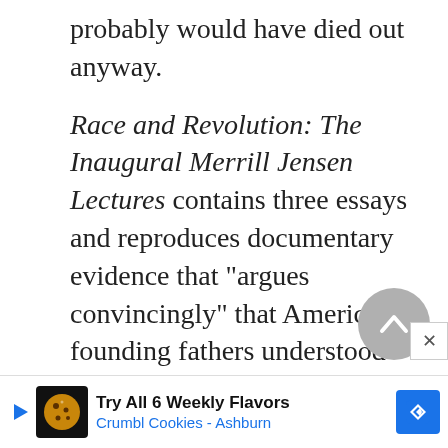probably would have died out anyway.
Race and Revolution: The Inaugural Merrill Jensen Lectures contains three essays and reproduces documentary evidence that "argues convincingly" that America's founding fathers understood that their ownership of slaves was contrary to "their equalitarian ideology," as David Szatmary explained in a Library Journal review. Many Americans know the [text continues] was